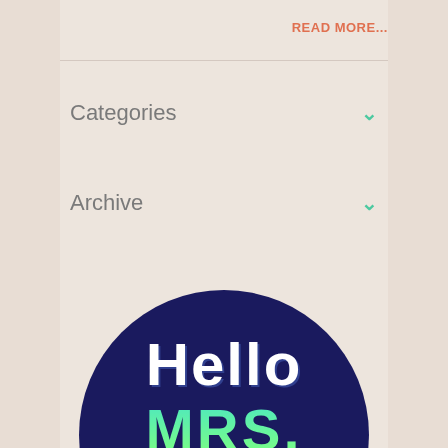READ MORE...
Categories
Archive
[Figure (illustration): Dark navy blue circle with decorative text reading 'Hello MRS. OYES' in white hatched and green/teal bold lettering, partially cropped at the bottom of the page]